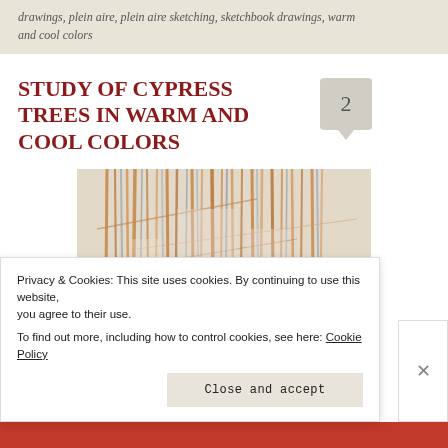drawings, plein aire, plein aire sketching, sketchbook drawings, warm and cool colors
Study of cypress trees in warm and cool colors
[Figure (illustration): Painting/sketch of cypress trees rendered in warm and cool colors — vertical strokes of brown, orange, tan, and blue-grey representing tree trunks and branches against a light background, with darker brown leaf/branch clusters in the lower right.]
Privacy & Cookies: This site uses cookies. By continuing to use this website, you agree to their use.
To find out more, including how to control cookies, see here: Cookie Policy
Close and accept